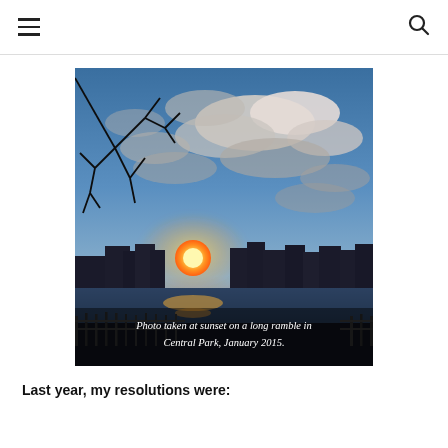≡  🔍
[Figure (photo): Sunset photo taken at Central Park in January 2015. Shows a glowing sun on the horizon silhouetting city buildings and bare tree branches, with dramatic clouds in a blue sky above a reservoir or lake. A wooden fence is visible in the foreground.]
Photo taken at sunset on a long ramble in Central Park, January 2015.
Last year, my resolutions were: